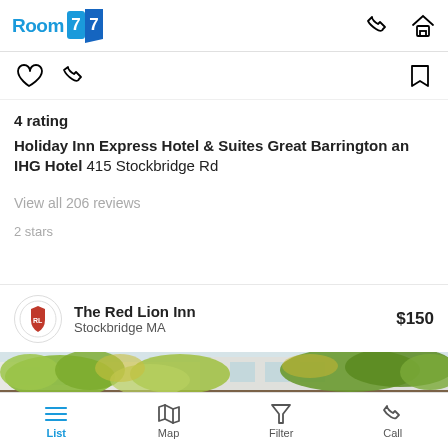Room 77
4 rating
Holiday Inn Express Hotel & Suites Great Barrington an IHG Hotel 415 Stockbridge Rd
View all 206 reviews
2 stars
The Red Lion Inn
Stockbridge MA
$150
[Figure (photo): Outdoor photo showing autumn foliage with green and yellow-green leaves on trees against a building with white siding]
List | Map | Filter | Call